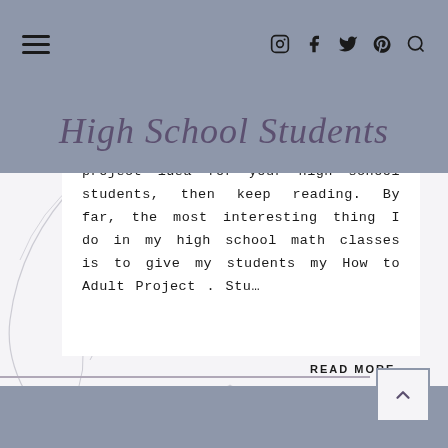High School Students
If you're looking for a math project idea for your high school students, then keep reading. By far, the most interesting thing I do in my high school math classes is to give my students my How to Adult Project . Stu…
READ MORE